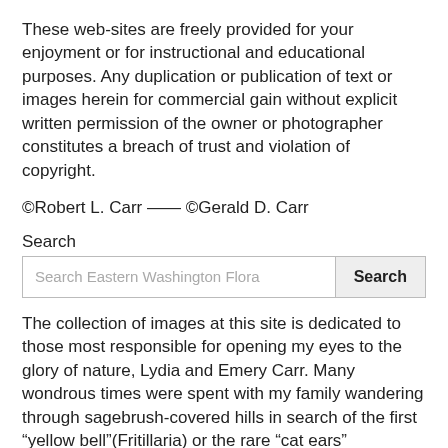These web-sites are freely provided for your enjoyment or for instructional and educational purposes. Any duplication or publication of text or images herein for commercial gain without explicit written permission of the owner or photographer constitutes a breach of trust and violation of copyright.
©Robert L. Carr —— ©Gerald D. Carr
Search
[Figure (screenshot): Search input box with placeholder text 'Search Eastern Washington Flora' and a Search button]
The collection of images at this site is dedicated to those most responsible for opening my eyes to the glory of nature, Lydia and Emery Carr. Many wondrous times were spent with my family wandering through sagebrush-covered hills in search of the first “yellow bell”(Fritillaria) or the rare “cat ears” (Calochortus) or just to view the splendor of phlox covered sage and brilliant mounds of balsamroot.